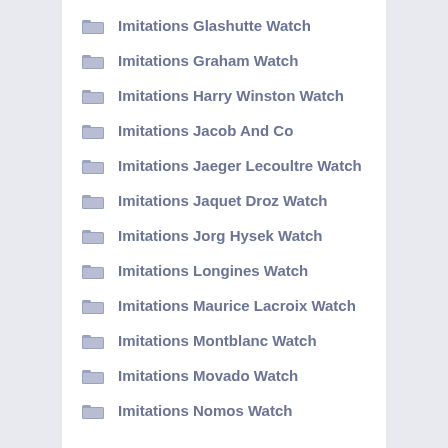Imitations Glashutte Watch
Imitations Graham Watch
Imitations Harry Winston Watch
Imitations Jacob And Co
Imitations Jaeger Lecoultre Watch
Imitations Jaquet Droz Watch
Imitations Jorg Hysek Watch
Imitations Longines Watch
Imitations Maurice Lacroix Watch
Imitations Montblanc Watch
Imitations Movado Watch
Imitations Nomos Watch